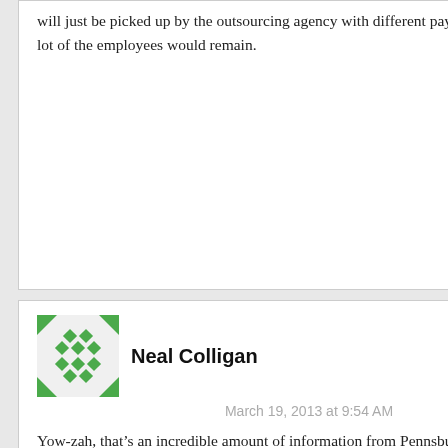will just be picked up by the outsourcing agency with different pay/bene packages but a lot of the employees would remain.
Reply
Neal Colligan
March 19, 2013 at 9:54 AM
Yow-zah, that's an incredible amount of information from Pennsbury! Keith, a question for you: Part of the Affordable Care Act imposes a employer tax on “Cadillac” health care plans. Given the cost of some of these healthcare plans vs. the national average…would they fall into the Cadillac category? Clearly I haven’t read the 3,700 pages of the new Law but I thought you may have some insight on this.